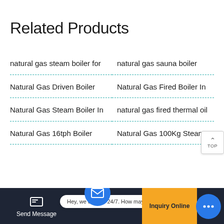Related Products
natural gas steam boiler for
natural gas sauna boiler
Natural Gas Driven Boiler
Natural Gas Fired Boiler In
Natural Gas Steam Boiler In
natural gas fired thermal oil
Natural Gas 16tph Boiler
Natural Gas 100Kg Steam
Send Message | Hey, we are live 24/7. How may I help you? | Inquiry Online